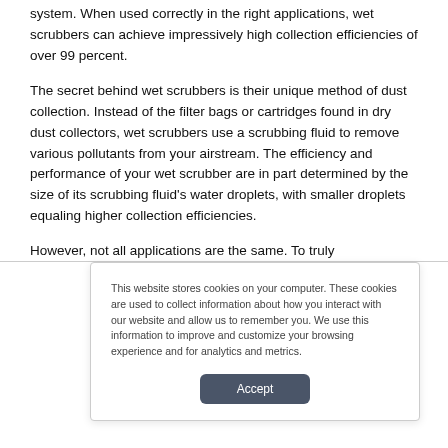system. When used correctly in the right applications, wet scrubbers can achieve impressively high collection efficiencies of over 99 percent.
The secret behind wet scrubbers is their unique method of dust collection. Instead of the filter bags or cartridges found in dry dust collectors, wet scrubbers use a scrubbing fluid to remove various pollutants from your airstream. The efficiency and performance of your wet scrubber are in part determined by the size of its scrubbing fluid's water droplets, with smaller droplets equaling higher collection efficiencies.
However, not all applications are the same. To truly
This website stores cookies on your computer. These cookies are used to collect information about how you interact with our website and allow us to remember you. We use this information to improve and customize your browsing experience and for analytics and metrics.